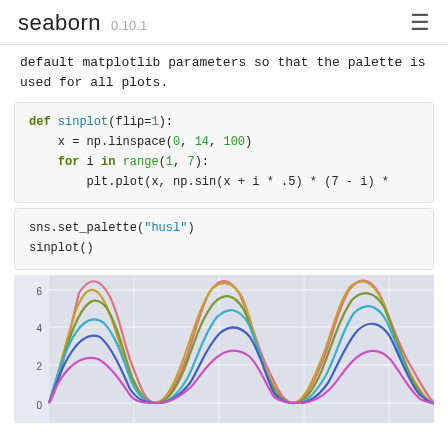seaborn 0.10.1
default matplotlib parameters so that the palette is used for all plots.
def sinplot(flip=1):
    x = np.linspace(0, 14, 100)
    for i in range(1, 7):
        plt.plot(x, np.sin(x + i * .5) * (7 - i) *
sns.set_palette("husl")
sinplot()
[Figure (line-chart): Line chart showing multiple sinusoidal waves with different colors (pink, orange, olive/green, teal/blue, blue, magenta), y-axis labeled 0, 2, 4, 6, chart is partially visible (cropped at bottom).]